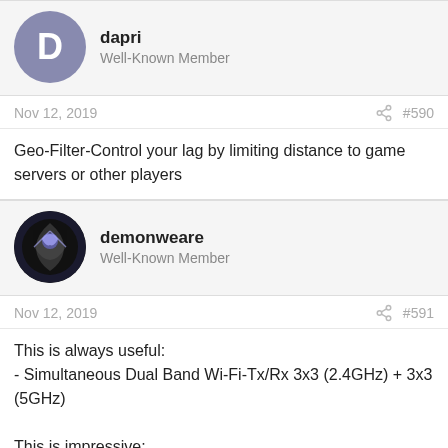dapri
Well-Known Member
Nov 12, 2019
#590
Geo-Filter-Control your lag by limiting distance to game servers or other players
demonweare
Well-Known Member
Nov 12, 2019
#591
This is always useful:
- Simultaneous Dual Band Wi-Fi-Tx/Rx 3x3 (2.4GHz) + 3x3 (5GHz)

This is impressive:
- Geo-Filter-Control your lag by limiting distance to game